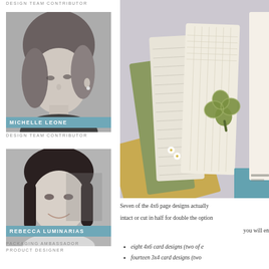DESIGN TEAM CONTRIBUTOR
[Figure (photo): Black and white headshot photo of Michelle Leone]
MICHELLE LEONE
DESIGN TEAM CONTRIBUTOR
[Figure (photo): Black and white headshot photo of Rebecca Luminarias]
REBECCA LUMINARIAS
PACKAGING AMBASSADOR
PRODUCT DESIGNER
[Figure (photo): Color photo of layered paper/card designs including clover/shamrock designs in green and cream tones]
Seven of the 4x6 page designs actually
intact or cut in half for double the option
you will en
eight 4x6 card designs (two of e
fourteen 3x4 card designs (two